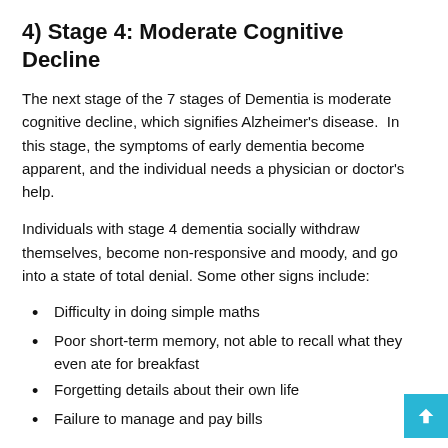4) Stage 4: Moderate Cognitive Decline
The next stage of the 7 stages of Dementia is moderate cognitive decline, which signifies Alzheimer's disease.  In this stage, the symptoms of early dementia become apparent, and the individual needs a physician or doctor's help.
Individuals with stage 4 dementia socially withdraw themselves, become non-responsive and moody, and go into a state of total denial. Some other signs include:
Difficulty in doing simple maths
Poor short-term memory, not able to recall what they even ate for breakfast
Forgetting details about their own life
Failure to manage and pay bills